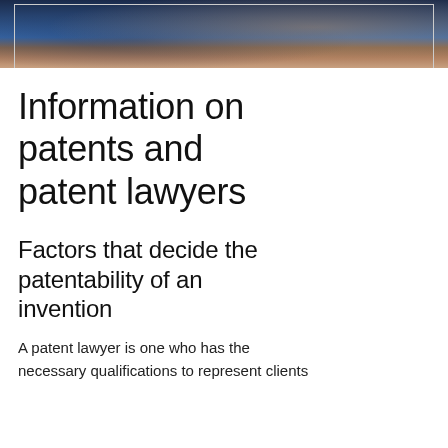[Figure (photo): Top portion of a photo showing what appears to be legal or patent-related items, with dark blue tones at top and brown/golden tones at bottom, partially cropped.]
Information on patents and patent lawyers
Factors that decide the patentability of an invention
A patent lawyer is one who has the necessary qualifications to represent clients